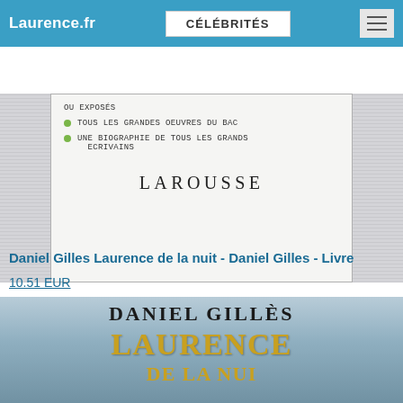Laurence.fr | CÉLÉBRITÉS
[Figure (photo): Partial view of a Larousse book cover showing bullet points: 'TOUS LES GRANDES OEUVRES DU BAC', 'UNE BIOGRAPHIE DE TOUS LES GRANDS ECRIVAINS', and the LAROUSSE publisher name]
Daniel Gilles Laurence de la nuit - Daniel Gilles - Livre
10.51 EUR
[Figure (photo): Book cover of 'Laurence de la nuit' by Daniel Gillès, showing the author name in black and the title in golden/yellow letters on a sky background, partially cropped at the bottom]